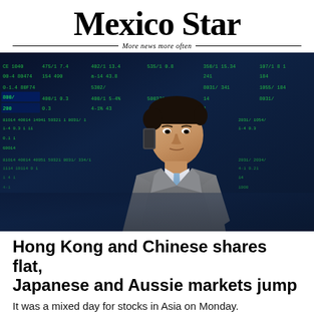Mexico Star
— More news more often —
[Figure (photo): A businessman in a grey suit talking on a phone in front of a stock market ticker board displaying green and red numbers.]
Hong Kong and Chinese shares flat, Japanese and Aussie markets jump
It was a mixed day for stocks in Asia on Monday.
Mexico Star